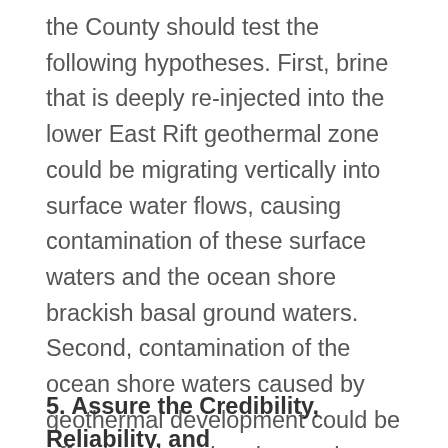the County should test the following hypotheses. First, brine that is deeply re-injected into the lower East Rift geothermal zone could be migrating vertically into surface water flows, causing contamination of these surface waters and the ocean shore brackish basal ground waters. Second, contamination of the ocean shore waters caused by geothermal development could be affecting coastal and near-shore plant and animal life. Third, pentane or possibly other injectate components can serve as markers for injection fluid migration.
5. Assure the Credibility, Reliability, and